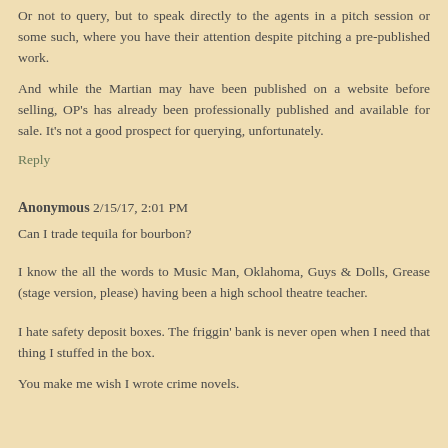Or not to query, but to speak directly to the agents in a pitch session or some such, where you have their attention despite pitching a pre-published work.
And while the Martian may have been published on a website before selling, OP's has already been professionally published and available for sale. It's not a good prospect for querying, unfortunately.
Reply
Anonymous 2/15/17, 2:01 PM
Can I trade tequila for bourbon?
I know the all the words to Music Man, Oklahoma, Guys & Dolls, Grease (stage version, please) having been a high school theatre teacher.
I hate safety deposit boxes. The friggin' bank is never open when I need that thing I stuffed in the box.
You make me wish I wrote crime novels.